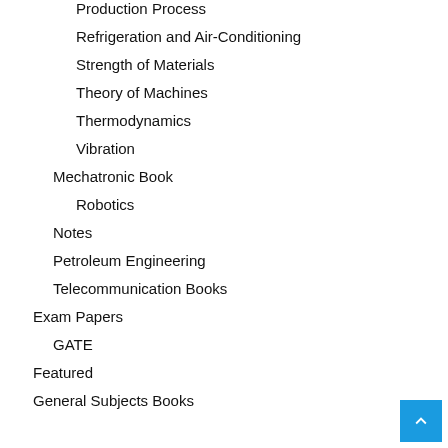Production Process
Refrigeration and Air-Conditioning
Strength of Materials
Theory of Machines
Thermodynamics
Vibration
Mechatronic Book
Robotics
Notes
Petroleum Engineering
Telecommunication Books
Exam Papers
GATE
Featured
General Subjects Books